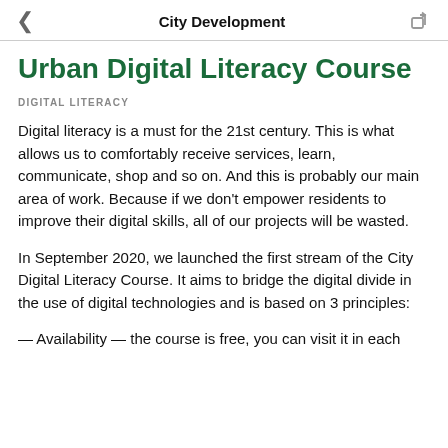City Development
Urban Digital Literacy Course
DIGITAL LITERACY
Digital literacy is a must for the 21st century. This is what allows us to comfortably receive services, learn, communicate, shop and so on. And this is probably our main area of work. Because if we don't empower residents to improve their digital skills, all of our projects will be wasted.
In September 2020, we launched the first stream of the City Digital Literacy Course. It aims to bridge the digital divide in the use of digital technologies and is based on 3 principles:
— Availability — the course is free, you can visit it in each